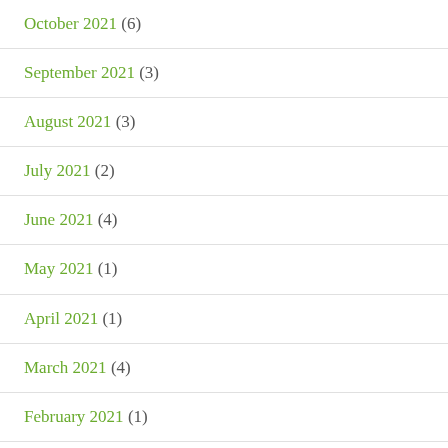October 2021 (6)
September 2021 (3)
August 2021 (3)
July 2021 (2)
June 2021 (4)
May 2021 (1)
April 2021 (1)
March 2021 (4)
February 2021 (1)
January 2021 (1)